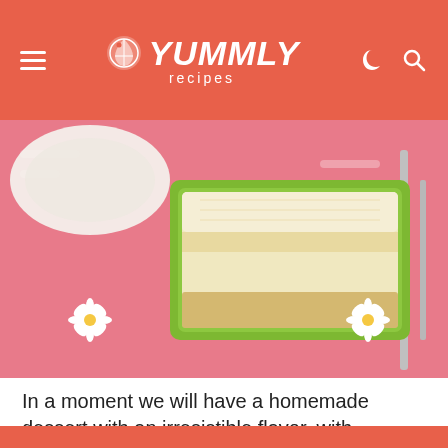YUMMLY recipes
[Figure (photo): A slice of homemade dessert (appears to be a coconut or cream cake) in a green rectangular baking dish, set on a pink patterned cloth with daisy flowers, alongside cutlery.]
In a moment we will have a homemade dessert with an irresistible flavor, with inexpensive and basic ingredients to
We use cookies on our website to give you the most relevant experience by remembering your preferences and repeat visits. By clicking “Accept All”, you consent to the use of ALL the cookies. However, you may visit "Cookie Settings" to provide a controlled consent.